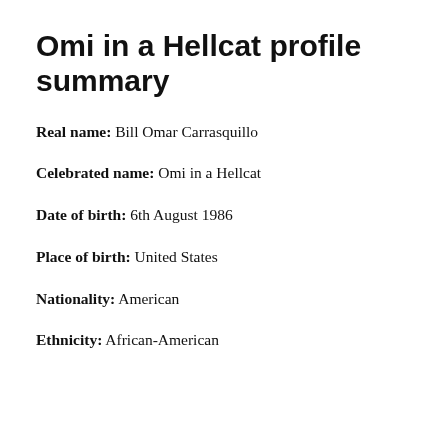Omi in a Hellcat profile summary
Real name: Bill Omar Carrasquillo
Celebrated name: Omi in a Hellcat
Date of birth: 6th August 1986
Place of birth: United States
Nationality: American
Ethnicity: African-American